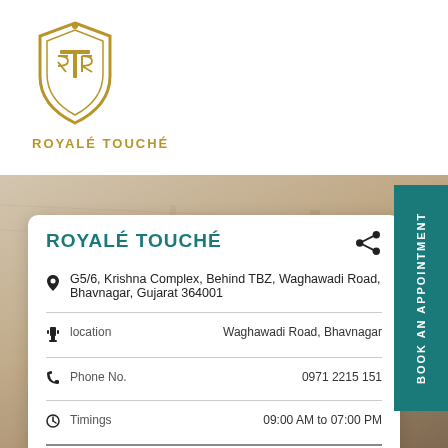[Figure (logo): Royale Touché shield logo in gold color with stylized letters inside]
ROYALÉ TOUCHÉ
[Figure (photo): Background interior photo showing bathroom/furniture in warm beige tones]
ROYALÉ TOUCHÉ
G5/6, Krishna Complex, Behind TBZ, Waghawadi Road, Bhavnagar, Gujarat 364001
location    Waghawadi Road, Bhavnagar
Phone No.    0971 2215 151
Timings    09:00 AM to 07:00 PM
CLOSED NOW
GET DIRECTIONS